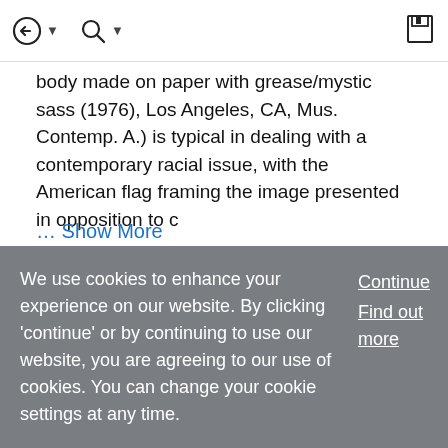[navigation icons: back/login, search, save]
body made on paper with grease/mystic sass (1976), Los Angeles, CA, Mus. Contemp. A.) is typical in dealing with a contemporary racial issue, with the American flag framing the image presented in opposition to c
... Show More
Article
Holley, Lonnie
Jerry C. Waters
Published online: 31 May 2015
We use cookies to enhance your experience on our website. By clicking 'continue' or by continuing to use our website, you are agreeing to our use of cookies. You can change your cookie settings at any time.